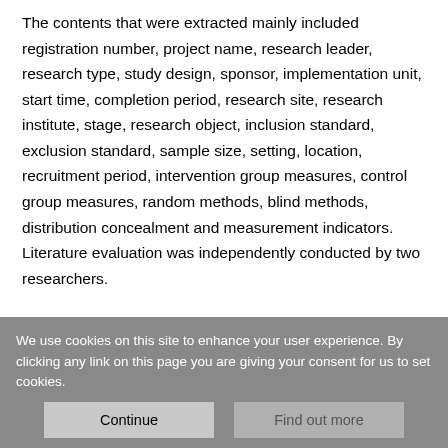The contents that were extracted mainly included registration number, project name, research leader, research type, study design, sponsor, implementation unit, start time, completion period, research site, research institute, stage, research object, inclusion standard, exclusion standard, sample size, setting, location, recruitment period, intervention group measures, control group measures, random methods, blind methods, distribution concealment and measurement indicators. Literature evaluation was independently conducted by two researchers.
Methodology quality assessment
The quality evaluation and data extraction of each literature
We use cookies on this site to enhance your user experience. By clicking any link on this page you are giving your consent for us to set cookies.